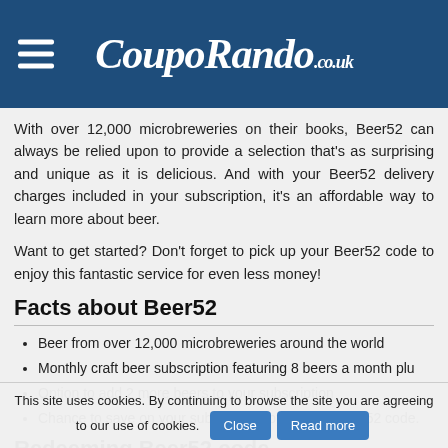CoupoRando.co.uk
With over 12,000 microbreweries on their books, Beer52 can always be relied upon to provide a selection that’s as surprising and unique as it is delicious. And with your Beer52 delivery charges included in your subscription, it’s an affordable way to learn more about beer.

Want to get started? Don’t forget to pick up your Beer52 code to enjoy this fantastic service for even less money!
Facts about Beer52
Beer from over 12,000 microbreweries around the world
Monthly craft beer subscription featuring 8 beers a month plu
Option to add 2 more beers to your subscription
Chance to save on your subscription by using a Beer52 code.
This site uses cookies. By continuing to browse the site you are agreeing to our use of cookies. Close Read more